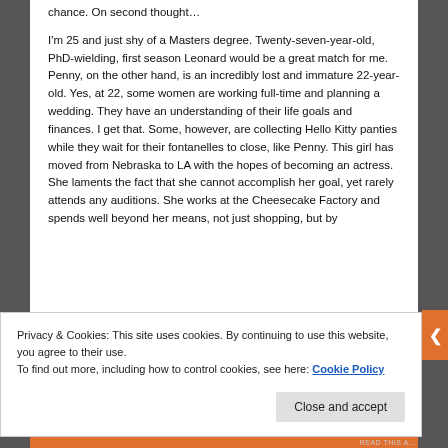chance. On second thought…
I'm 25 and just shy of a Masters degree. Twenty-seven-year-old, PhD-wielding, first season Leonard would be a great match for me. Penny, on the other hand, is an incredibly lost and immature 22-year-old. Yes, at 22, some women are working full-time and planning a wedding. They have an understanding of their life goals and finances. I get that. Some, however, are collecting Hello Kitty panties while they wait for their fontanelles to close, like Penny. This girl has moved from Nebraska to LA with the hopes of becoming an actress. She laments the fact that she cannot accomplish her goal, yet rarely attends any auditions. She works at the Cheesecake Factory and spends well beyond her means, not just shopping, but by
Privacy & Cookies: This site uses cookies. By continuing to use this website, you agree to their use.
To find out more, including how to control cookies, see here: Cookie Policy
Close and accept